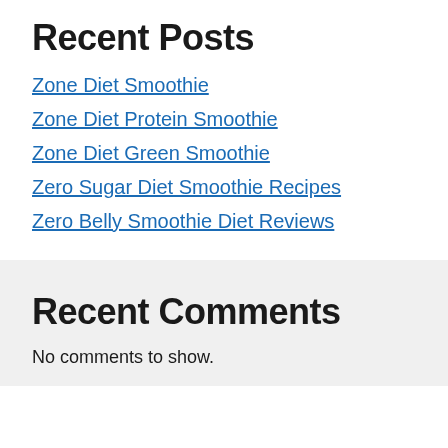Recent Posts
Zone Diet Smoothie
Zone Diet Protein Smoothie
Zone Diet Green Smoothie
Zero Sugar Diet Smoothie Recipes
Zero Belly Smoothie Diet Reviews
Recent Comments
No comments to show.